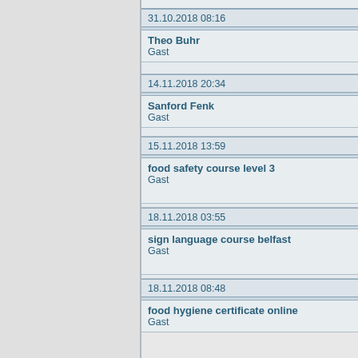| Datetime | User/Role |
| --- | --- |
| 31.10.2018 08:16 | Theo Buhr
Gast |
| 14.11.2018 20:34 | Sanford Fenk
Gast |
| 15.11.2018 13:59 | food safety course level 3
Gast |
| 18.11.2018 03:55 | sign language course belfast
Gast |
| 18.11.2018 08:48 | food hygiene certificate online
Gast |